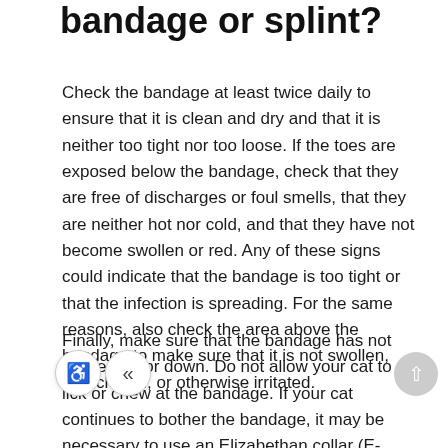bandage or splint?
Check the bandage at least twice daily to ensure that it is clean and dry and that it is neither too tight nor too loose. If the toes are exposed below the bandage, check that they are free of discharges or foul smells, that they are neither hot nor cold, and that they have not become swollen or red. Any of these signs could indicate that the bandage is too tight or that the infection is spreading. For the same reasons, also check the area above the bandage to make sure that it is not swollen, red, chafed, or otherwise irritated.
Finally, make sure that the bandage has not slipped up or down. Do not allow your cat to lick or chew at the bandage. If your cat continues to bother the bandage, it may be necessary to use an Elizabethan collar (E-collar) or a cone...